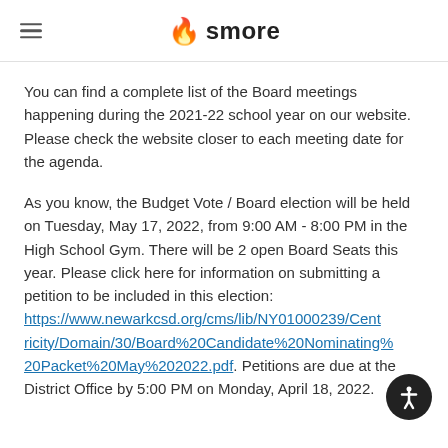smore
You can find a complete list of the Board meetings happening during the 2021-22 school year on our website. Please check the website closer to each meeting date for the agenda.
As you know, the Budget Vote / Board election will be held on Tuesday, May 17, 2022, from 9:00 AM - 8:00 PM in the High School Gym. There will be 2 open Board Seats this year. Please click here for information on submitting a petition to be included in this election: https://www.newarkcsd.org/cms/lib/NY01000239/Centricity/Domain/30/Board%20Candidate%20Nominating%20Packet%20May%202022.pdf. Petitions are due at the District Office by 5:00 PM on Monday, April 18, 2022.